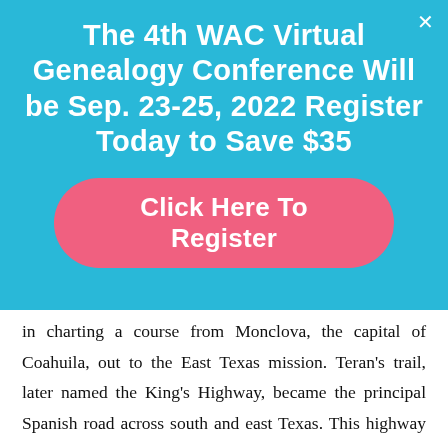The 4th WAC Virtual Genealogy Conference Will be Sep. 23-25, 2022 Register Today to Save $35
Click Here To Register
in charting a course from Monclova, the capital of Coahuila, out to the East Texas mission. Teran's trail, later named the King's Highway, became the principal Spanish road across south and east Texas. This highway endured substantially through the centuries, even as new